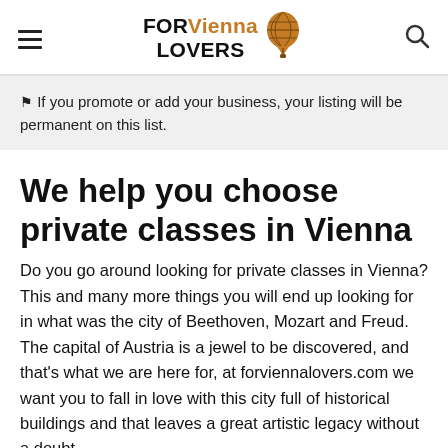FOR Vienna LOVERS
⚑ If you promote or add your business, your listing will be permanent on this list.
We help you choose private classes in Vienna
Do you go around looking for private classes in Vienna? This and many more things you will end up looking for in what was the city of Beethoven, Mozart and Freud. The capital of Austria is a jewel to be discovered, and that's what we are here for, at forviennalovers.com we want you to fall in love with this city full of historical buildings and that leaves a great artistic legacy without a doubt.